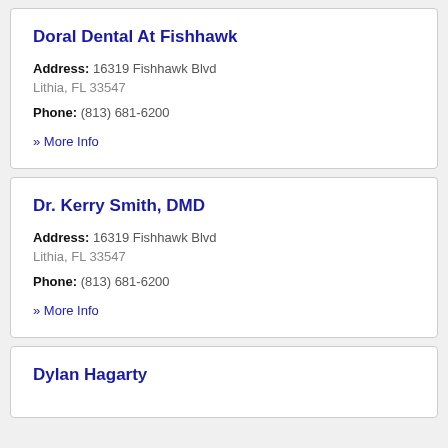Doral Dental At Fishhawk
Address: 16319 Fishhawk Blvd
Lithia, FL 33547
Phone: (813) 681-6200
» More Info
Dr. Kerry Smith, DMD
Address: 16319 Fishhawk Blvd
Lithia, FL 33547
Phone: (813) 681-6200
» More Info
Dylan Hagarty